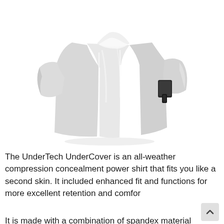[Figure (photo): White compression shirt with concealed carry holster visible on the right side under the arm. The shirt is a short-sleeve crew neck athletic fit garment shown in a product photo on white background.]
The UnderTech UnderCover is an all-weather compression concealment power shirt that fits you like a second skin. It included enhanced fit and functions for more excellent retention and comfor
It is made with a combination of spandex material